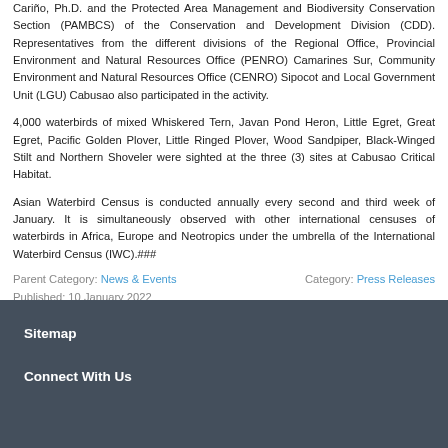Cariño, Ph.D. and the Protected Area Management and Biodiversity Conservation Section (PAMBCS) of the Conservation and Development Division (CDD). Representatives from the different divisions of the Regional Office, Provincial Environment and Natural Resources Office (PENRO) Camarines Sur, Community Environment and Natural Resources Office (CENRO) Sipocot and Local Government Unit (LGU) Cabusao also participated in the activity.
4,000 waterbirds of mixed Whiskered Tern, Javan Pond Heron, Little Egret, Great Egret, Pacific Golden Plover, Little Ringed Plover, Wood Sandpiper, Black-Winged Stilt and Northern Shoveler were sighted at the three (3) sites at Cabusao Critical Habitat.
Asian Waterbird Census is conducted annually every second and third week of January. It is simultaneously observed with other international censuses of waterbirds in Africa, Europe and Neotropics under the umbrella of the International Waterbird Census (IWC).###
Parent Category: News & Events    Category: Press Releases
Published: 10 January 2022
Sitemap
Connect With Us